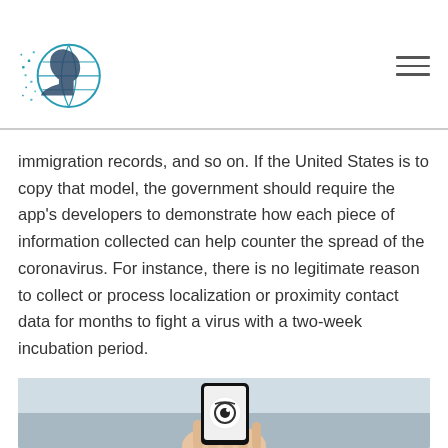[Logo: AI face/globe icon] [Hamburger menu]
immigration records, and so on. If the United States is to copy that model, the government should require the app’s developers to demonstrate how each piece of information collected can help counter the spread of the coronavirus. For instance, there is no legitimate reason to collect or process localization or proximity contact data for months to fight a virus with a two-week incubation period.
[Figure (photo): A hand holding a smartphone displaying a contact tracing / privacy app icon on the screen, photographed outdoors.]